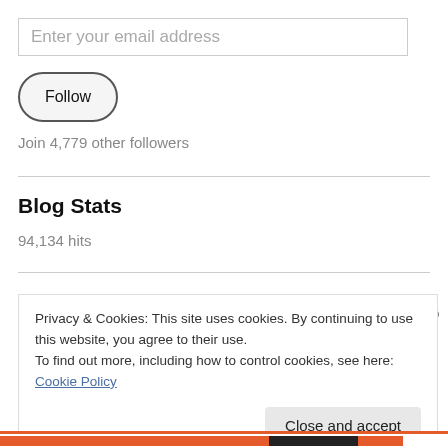Enter your email address
Follow
Join 4,779 other followers
Blog Stats
94,134 hits
Privacy & Cookies: This site uses cookies. By continuing to use this website, you agree to their use.
To find out more, including how to control cookies, see here: Cookie Policy
Close and accept